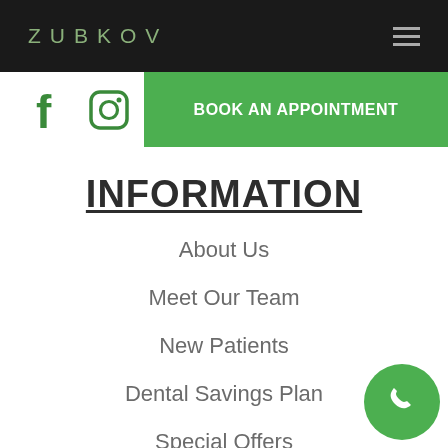ZUBKOV
[Figure (screenshot): Navigation bar with Facebook and Instagram social icons and green 'BOOK AN APPOINTMENT' button]
INFORMATION
About Us
Meet Our Team
New Patients
Dental Savings Plan
Special Offers
Contact Us
SERVICES